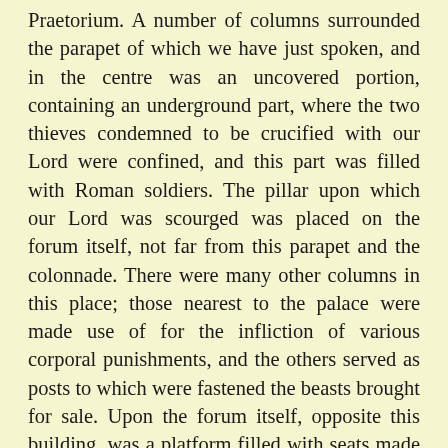Praetorium. A number of columns surrounded the parapet of which we have just spoken, and in the centre was an uncovered portion, containing an underground part, where the two thieves condemned to be crucified with our Lord were confined, and this part was filled with Roman soldiers. The pillar upon which our Lord was scourged was placed on the forum itself, not far from this parapet and the colonnade. There were many other columns in this place; those nearest to the palace were made use of for the infliction of various corporal punishments, and the others served as posts to which were fastened the beasts brought for sale. Upon the forum itself, opposite this building, was a platform filled with seats made of stone; and from this platform, which was called Gabbatha, Pilate was accustomed to pronounce sentence on great criminals. The marble staircase ascended by persons going to the governor's palace led likewise to an uncovered